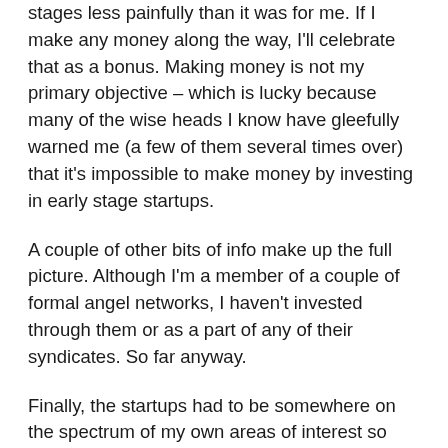stages less painfully than it was for me. If I make any money along the way, I'll celebrate that as a bonus. Making money is not my primary objective – which is lucky because many of the wise heads I know have gleefully warned me (a few of them several times over) that it's impossible to make money by investing in early stage startups.
A couple of other bits of info make up the full picture. Although I'm a member of a couple of formal angel networks, I haven't invested through them or as a part of any of their syndicates. So far anyway.
Finally, the startups had to be somewhere on the spectrum of my own areas of interest so that I can add value. This inevitably means software, X as a service or platform, community, scaleable, public sector, always something to do with people and how they can save time or money by collaborating, learning from each other or working together.